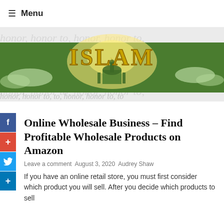≡ Menu
[Figure (illustration): Islam banner image with golden 'ISLAM' text on a green and sky background, with calligraphic watermark text behind the banner area]
Online Wholesale Business – Find Profitable Wholesale Products on Amazon
Leave a comment August 3, 2020 Audrey Shaw
If you have an online retail store, you must first consider which product you will sell. After you decide which products to sell